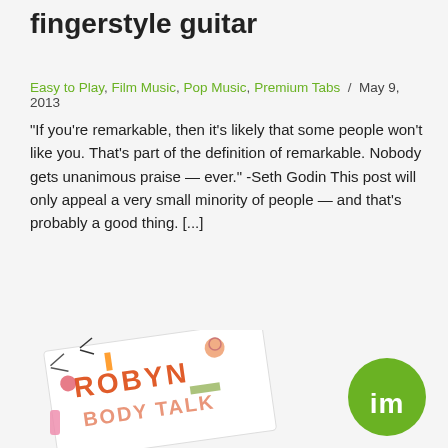fingerstyle guitar
Easy to Play, Film Music, Pop Music, Premium Tabs / May 9, 2013
“If you’re remarkable, then it’s likely that some people won’t like you. That’s part of the definition of remarkable. Nobody gets unanimous praise — ever.”  -Seth Godin This post will only appeal a very small minority of people — and that’s probably a good thing.  [...]
READ MORE ›
[Figure (photo): Album cover for Robyn Body Talk with colorful illustrated letters and musical objects scattered around]
[Figure (logo): Green circle logo with white lowercase 'im' letters]